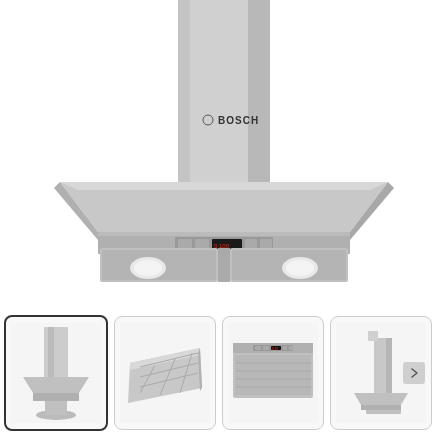[Figure (photo): Main product image of a Bosch stainless steel chimney wall-mounted range hood extractor fan, viewed from the front. The hood has a wide pyramidal canopy, digital controls and LED lights on the underside, and a tall rectangular chimney flue extending upward with the Bosch logo visible.]
[Figure (photo): Thumbnail 1 (selected/active): Side view of the same Bosch stainless steel range hood showing the chimney and canopy profile.]
[Figure (photo): Thumbnail 2: Angled top-down view of the Bosch range hood canopy showing the stainless steel grease filters.]
[Figure (photo): Thumbnail 3: Close-up front view of the Bosch range hood underside showing the digital control panel.]
[Figure (photo): Thumbnail 4: Rear/side view of the Bosch range hood chimney mounted to a wall bracket.]